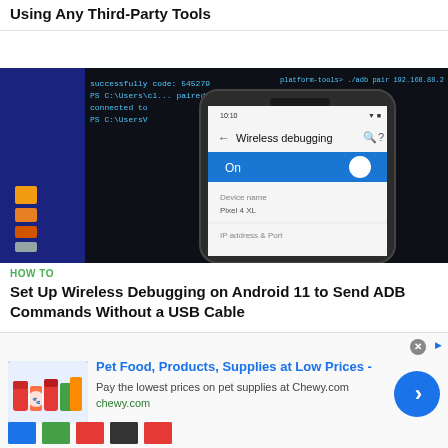Using Any Third-Party Tools
[Figure (photo): Android phone showing Wireless debugging screen with terminal/command prompt in background showing ADB pairing commands]
HOW TO
Set Up Wireless Debugging on Android 11 to Send ADB Commands Without a USB Cable
[Figure (photo): Partial view of another article image at bottom]
[Figure (infographic): Advertisement: Pet Food, Products, Supplies at Low Prices - Chewy.com. Pay the lowest prices on pet supplies at Chewy.com. chewy.com]